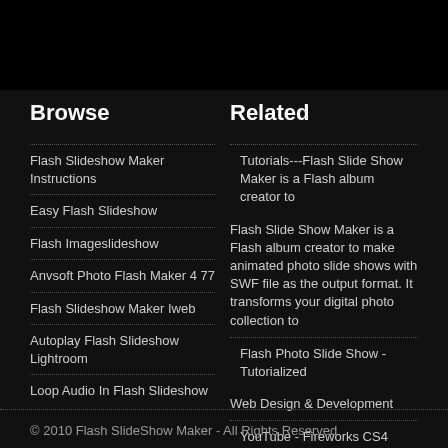Browse
Related
Flash Slideshow Maker Instructions
Easy Flash Slideshow
Flash Imageslideshow
Anvsoft Photo Flash Maker 4 77
Flash Slideshow Maker Iweb
Autoplay Flash Slideshow Lightroom
Loop Audio In Flash Slideshow
Tutorials---Flash Slide Show Maker is a Flash album creator to
Flash Slide Show Maker is a Flash album creator to make animated photo slide shows with SWF file as the output format. It transforms your digital photo collection to
Flash Photo Slide Show - Tutorialized
Web Design & Development
YouTube - Fireworks CS4 Tutorial - Create a Robust Flash
Tutorial on creating a Flash Based Slideshow Photo Gallery in Fireworks
© 2010 Flash SlideShow Maker - All Rights Reserved